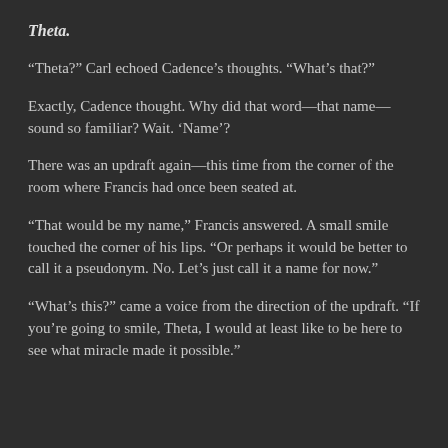Theta.
“Theta?” Carl echoed Cadence’s thoughts. “What’s that?”
Exactly, Cadence thought. Why did that word—that name—sound so familiar? Wait. ‘Name’?
There was an updraft again—this time from the corner of the room where Francis had once been seated at.
“That would be my name,” Francis answered. A small smile touched the corner of his lips. “Or perhaps it would be better to call it a pseudonym. No. Let’s just call it a name for now.”
“What’s this?” came a voice from the direction of the updraft. “If you’re going to smile, Theta, I would at least like to be here to see what miracle made it possible.”